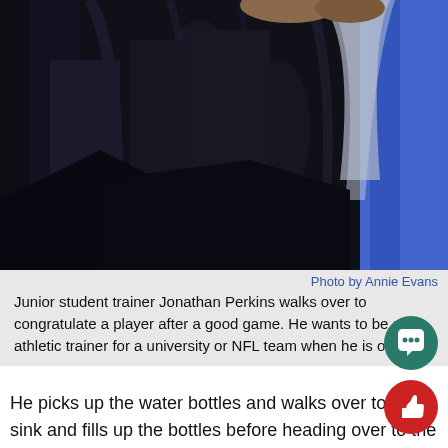[Figure (photo): Close-up photo of people's lower bodies wearing dark clothing and jeans, with a person in a blue top visible on the right side. Dark/night setting.]
Photo by Annie Evans
Junior student trainer Jonathan Perkins walks over to congratulate a player after a good game. He wants to be an athletic trainer for a university or NFL team when he is older.
He picks up the water bottles and walks over to the sink and fills up the bottles before heading over to the equipment room, where he grabs some footballs and a first aid kit. He double checks to m